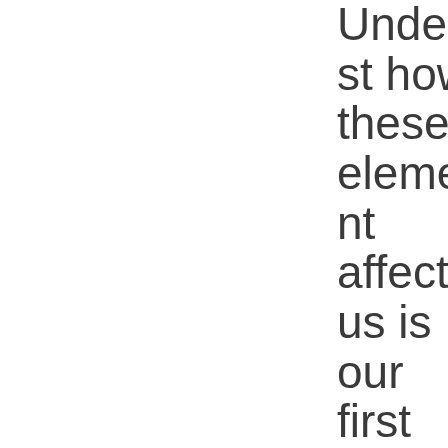Understand how these elements affect us is our first step, so let's begin with helplessness. Trauma victims need to regain control; empowering them is